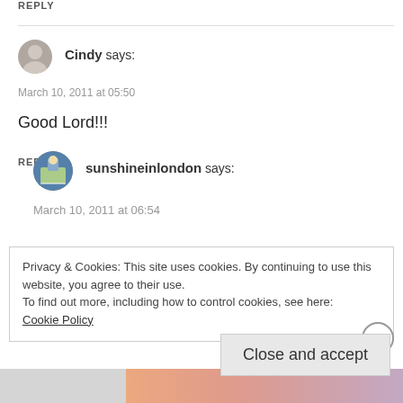REPLY
Cindy says:
March 10, 2011 at 05:50
Good Lord!!!
REPLY
sunshineinlondon says:
March 10, 2011 at 06:54
Privacy & Cookies: This site uses cookies. By continuing to use this website, you agree to their use.
To find out more, including how to control cookies, see here: Cookie Policy
Close and accept